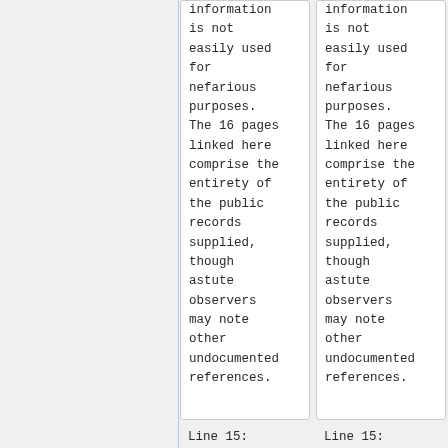information is not easily used for nefarious purposes. The 16 pages linked here comprise the entirety of the public records supplied, though astute observers may note other undocumented references.
information is not easily used for nefarious purposes. The 16 pages linked here comprise the entirety of the public records supplied, though astute observers may note other undocumented references.
Line 15:
Line 15: